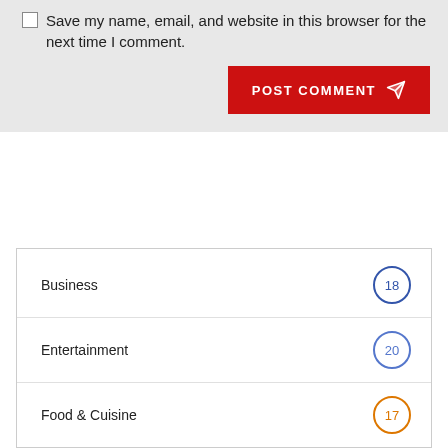Save my name, email, and website in this browser for the next time I comment.
POST COMMENT
Business 18
Entertainment 20
Food & Cuisine 17
Health 5
Lifestyle 13
News 10
Popular 7